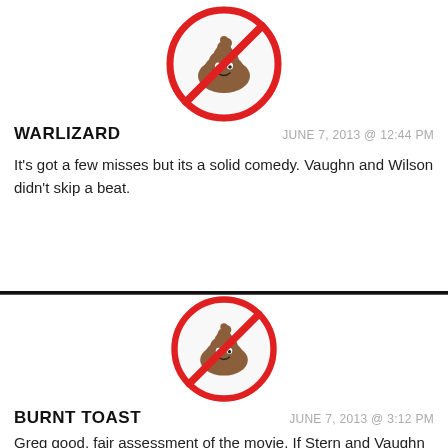[Figure (illustration): No-BS icon: red circle with diagonal slash over a poop emoji, on white background (first comment avatar)]
WARLIZARD
JUNE 7, 2013 @ 12:44 PM
It's got a few misses but its a solid comedy. Vaughn and Wilson didn't skip a beat.
[Figure (illustration): No-BS icon: red circle with diagonal slash over a poop emoji, on white background (second comment avatar)]
BURNT TOAST
JUNE 7, 2013 @ 3:12 PM
Greg good, fair assessment of the movie. If Stern and Vaughn hadn't